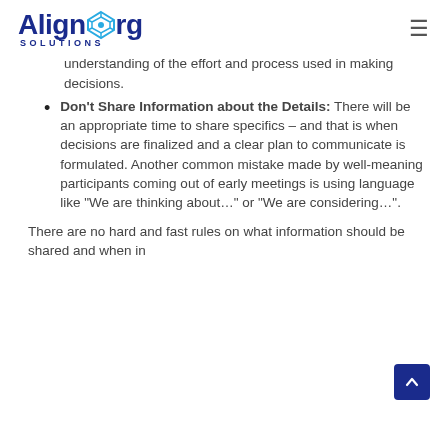AlignOrg SOLUTIONS
understanding of the effort and process used in making decisions.
Don't Share Information about the Details: There will be an appropriate time to share specifics – and that is when decisions are finalized and a clear plan to communicate is formulated. Another common mistake made by well-meaning participants coming out of early meetings is using language like "We are thinking about..." or "We are considering...".
There are no hard and fast rules on what information should be shared and when in